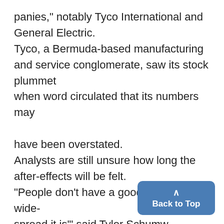panies," notably Tyco International and General Electric. Tyco, a Bermuda-based manufacturing and service conglomerate, saw its stock plummet when word circulated that its numbers may have been overstated. Analysts are still unsure how long the after-effects will be felt. "People don't have a good grip on how wide-spread it is'" said Tyler Schumw pro-